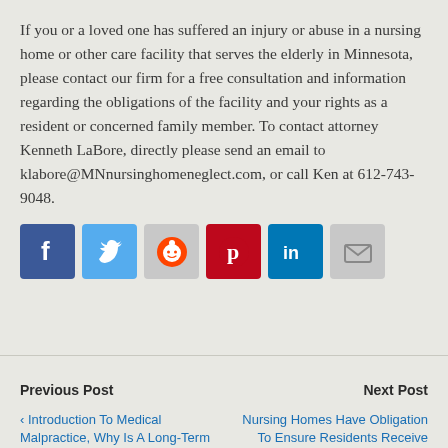If you or a loved one has suffered an injury or abuse in a nursing home or other care facility that serves the elderly in Minnesota, please contact our firm for a free consultation and information regarding the obligations of the facility and your rights as a resident or concerned family member. To contact attorney Kenneth LaBore, directly please send an email to klabore@MNnursinghomeneglect.com, or call Ken at 612-743-9048.
[Figure (infographic): Row of six social media sharing icons: Facebook (blue with 'f' logo), Twitter (light blue with bird logo), Reddit (gray with alien logo), Pinterest (red with 'P' logo), LinkedIn (dark blue with 'in' logo), Email (gray with envelope icon)]
Previous Post
Next Post
< Introduction To Medical Malpractice, Why Is A Long-Term Care Or Home Care...
Nursing Homes Have Obligation To Ensure Residents Receive Adequate...